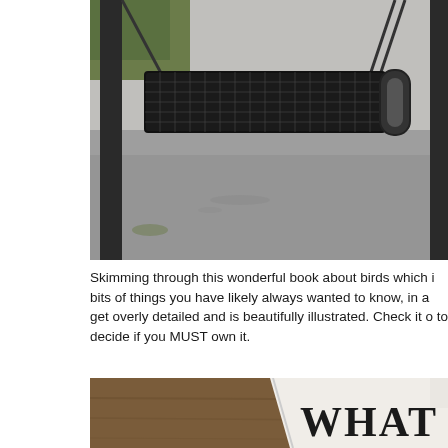[Figure (photo): Outdoor photo of a metal mesh park bench or swing hanging from a metal frame structure, with a concrete/paved surface below and greenery in the background.]
Skimming through this wonderful book about birds which i bits of things you have likely always wanted to know, in a get overly detailed and is beautifully illustrated. Check it o to decide if you MUST own it.
[Figure (photo): Photo of a book on a wooden table, showing the beginning letters 'WHAT' on the book cover.]